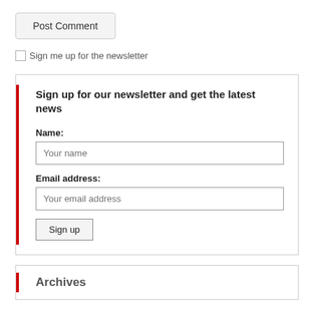Post Comment
Sign me up for the newsletter
Sign up for our newsletter and get the latest news
Name:
Your name
Email address:
Your email address
Sign up
Archives